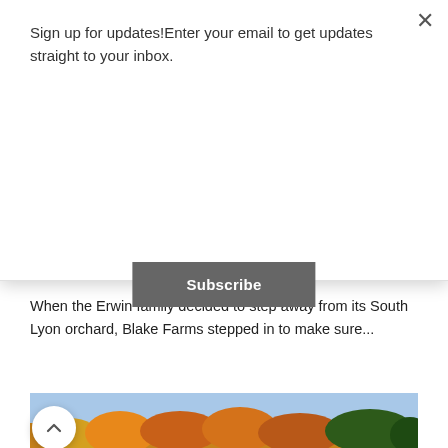Sign up for updates!Enter your email to get updates straight to your inbox.
Subscribe
BEHIND THE SCENES OF ERWIN SOUTH LYON LOCATION
When the Erwin family decided to step away from its South Lyon orchard, Blake Farms stepped in to make sure...
[Figure (photo): Aerial view of Blake Farms orchard and fairgrounds in autumn, showing red barns, white building, yellow and red striped tents, parking areas, and colorful fall foliage in the background.]